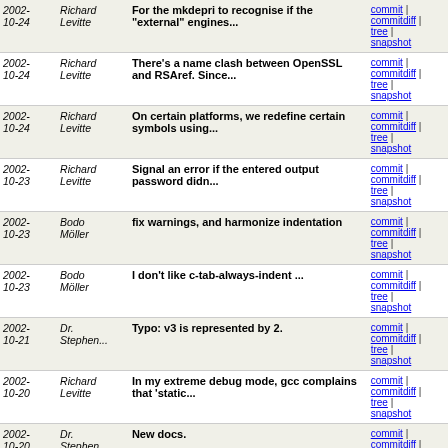| Date | Author | Message | Links |
| --- | --- | --- | --- |
| 2002-10-24 | Richard Levitte | For the mkdepri to recognise if the "external" engines... | commit | commitdiff | tree | snapshot |
| 2002-10-24 | Richard Levitte | There's a name clash between OpenSSL and RSAref. Since... | commit | commitdiff | tree | snapshot |
| 2002-10-24 | Richard Levitte | On certain platforms, we redefine certain symbols using... | commit | commitdiff | tree | snapshot |
| 2002-10-23 | Richard Levitte | Signal an error if the entered output password didn... | commit | commitdiff | tree | snapshot |
| 2002-10-23 | Bodo Möller | fix warnings, and harmonize indentation | commit | commitdiff | tree | snapshot |
| 2002-10-23 | Bodo Möller | I don't like c-tab-always-indent ... | commit | commitdiff | tree | snapshot |
| 2002-10-21 | Dr. Stephen... | Typo: v3 is represented by 2. | commit | commitdiff | tree | snapshot |
| 2002-10-20 | Richard Levitte | In my extreme debug mode, gcc complains that 'static... | commit | commitdiff | tree | snapshot |
| 2002-10-20 | Dr. Stephen... | New docs. | commit | commitdiff | tree | snapshot |
| 2002-10-18 | Geoff Thorpe | Make pod2man happier. | commit | commitdiff | tree | snapshot |
| 2002- | Geoff | If dynamically-loadable ENGINEs | commit | commitdiff |